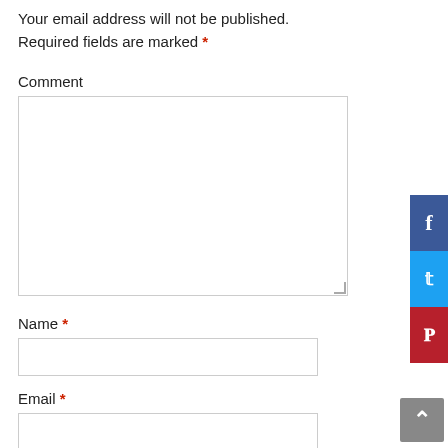Your email address will not be published. Required fields are marked *
Comment
[Figure (screenshot): Comment text area input box, empty, with resize handle at bottom right]
Name *
[Figure (screenshot): Name text input box, empty]
Email *
[Figure (screenshot): Email text input box, empty]
[Figure (infographic): Social share sidebar with Facebook (blue), Twitter (cyan), and Pinterest (red) buttons, and a grey scroll-to-top arrow button]